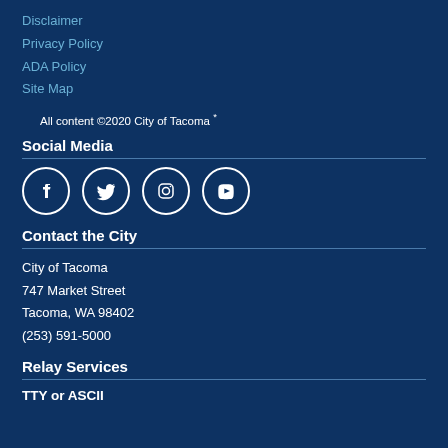Disclaimer
Privacy Policy
ADA Policy
Site Map
All content ©2020 City of Tacoma *
Social Media
[Figure (illustration): Social media icons: Facebook, Twitter, Instagram, YouTube]
Contact the City
City of Tacoma
747 Market Street
Tacoma, WA 98402
(253) 591-5000
Relay Services
TTY or ASCII